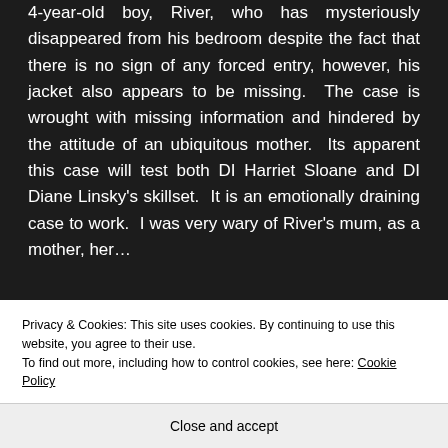4-year-old boy, River, who has mysteriously disappeared from his bedroom despite the fact that there is no sign of any forced entry, however, his jacket also appears to be missing. The case is wrought with missing information and hindered by the attitude of an ubiquitous mother. Its apparent this case will test both DI Harriet Sloane and DI Diane Linsky's skillset. It is an emotionally draining case to work. I was very wary of River's mum, as a mother, her...
READ MORE
Privacy & Cookies: This site uses cookies. By continuing to use this website, you agree to their use.
To find out more, including how to control cookies, see here: Cookie Policy
Close and accept